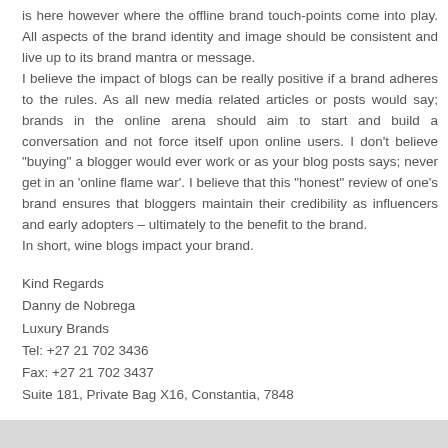is here however where the offline brand touch-points come into play. All aspects of the brand identity and image should be consistent and live up to its brand mantra or message.
I believe the impact of blogs can be really positive if a brand adheres to the rules. As all new media related articles or posts would say; brands in the online arena should aim to start and build a conversation and not force itself upon online users. I don't believe "buying" a blogger would ever work or as your blog posts says; never get in an 'online flame war'. I believe that this "honest" review of one's brand ensures that bloggers maintain their credibility as influencers and early adopters – ultimately to the benefit to the brand.
In short, wine blogs impact your brand.
Kind Regards
Danny de Nobrega
Luxury Brands
Tel: +27 21 702 3436
Fax: +27 21 702 3437
Suite 181, Private Bag X16, Constantia, 7848